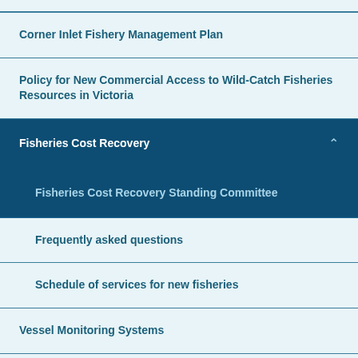Corner Inlet Fishery Management Plan
Policy for New Commercial Access to Wild-Catch Fisheries Resources in Victoria
Fisheries Cost Recovery
Fisheries Cost Recovery Standing Committee
Frequently asked questions
Schedule of services for new fisheries
Vessel Monitoring Systems
Vic eCatch support